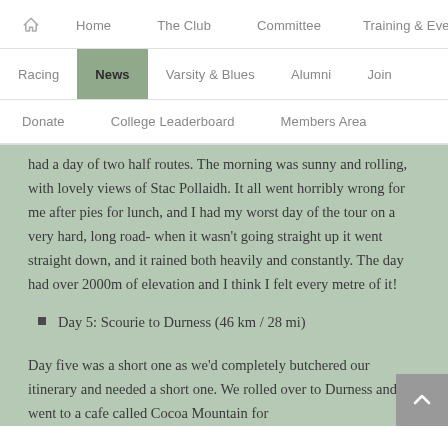Home | The Club | Committee | Training & Events | Racing | News | Varsity & Blues | Alumni | Join | Donate | College Leaderboard | Members Area
had a day of two half routes. The morning was sunny and rolling, with lovely views of Stac Pollaidh. It all went horribly wrong for me after pies for lunch, and I had my worst day of the tour on a very hard, long road- when it wasn't going straight up it went straight down, and it rained both heavily and constantly. The day had over 2000m of elevation and I think I felt every metre of it!
Day 5: Scourie to Durness (46 km / 28 mi)
Day five was a short one as we'd completely butchered our itinerary and needed a short one. We rolled over to Durness and went to a cafe called Cocoa Mountain for